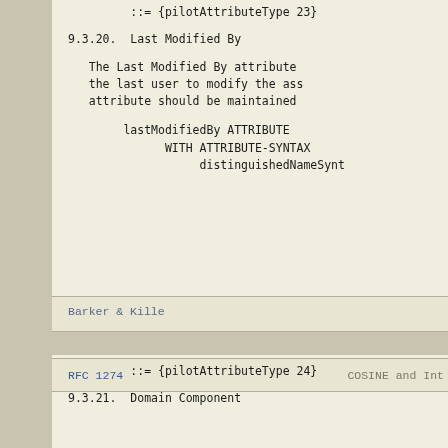::= {pilotAttributeType 23}
9.3.20.  Last Modified By
The Last Modified By attribute the last user to modify the ass attribute should be maintained
lastModifiedBy ATTRIBUTE
         WITH ATTRIBUTE-SYNTAX
              distinguishedNameSynt
Barker & Kille
RFC 1274                        COSINE and Int
::= {pilotAttributeType 24}
9.3.21.  Domain Component